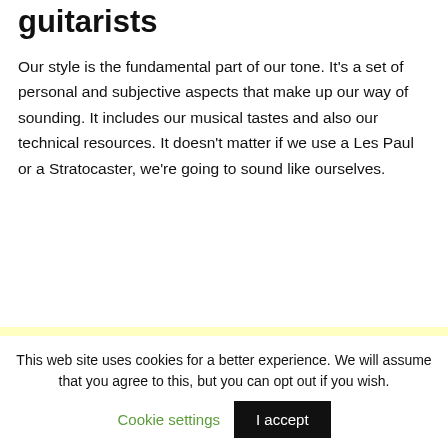guitarists
Our style is the fundamental part of our tone. It’s a set of personal and subjective aspects that make up our way of sounding. It includes our musical tastes and also our technical resources. It doesn’t matter if we use a Les Paul or a Stratocaster, we’re going to sound like ourselves.
[Figure (other): Light yellow background block, likely an advertisement or callout box with no visible text content]
This web site uses cookies for a better experience. We will assume that you agree to this, but you can opt out if you wish. Cookie settings | I accept